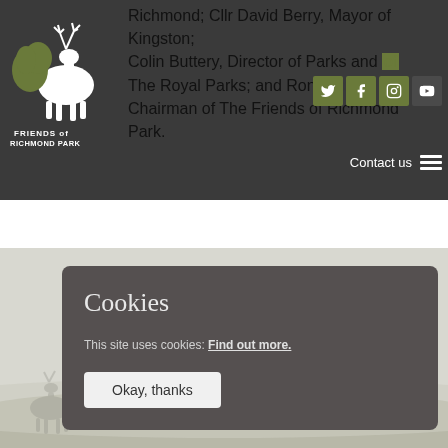Friends of Richmond Park - header navigation with logo, social icons (Twitter, Facebook, Instagram, YouTube), Contact us link, and hamburger menu
Richmond; Cllr David Berry, Mayor of Kingston; Colin Buttery, Director of Parks and [...]f The Royal Parks; and Ron [...], Chairman of The Friends of Richmond Park.
[Figure (screenshot): Cookie consent modal on a website for Friends of Richmond Park. Dark grey rounded rectangle with title 'Cookies', text 'This site uses cookies: Find out more.', and an 'Okay, thanks' button. Background shows a park landscape with deer silhouettes.]
Cookies
This site uses cookies: Find out more.
Okay, thanks